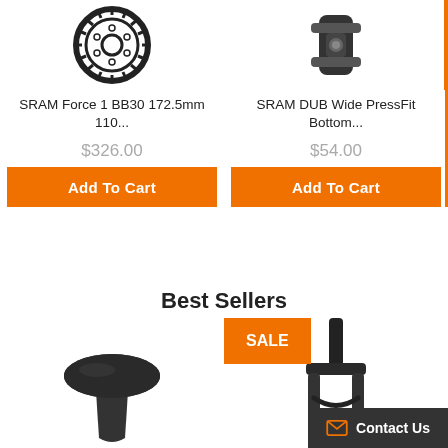[Figure (photo): SRAM Force 1 BB30 chainring/crankset product image (black gear)]
SRAM Force 1 BB30 172.5mm 110...
$326.00
Add To Cart
[Figure (photo): SRAM DUB Wide PressFit Bottom bracket product image]
SRAM DUB Wide PressFit Bottom...
$54.00
Add To Cart
Best Sellers
[Figure (photo): Bicycle saddle product image (black)]
[Figure (photo): Bicycle fork product image with SALE badge (black fork)]